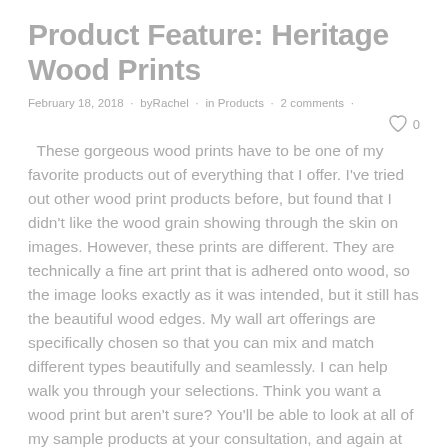Product Feature: Heritage Wood Prints
February 18, 2018 · by Rachel · in Products · 2 comments ·
These gorgeous wood prints have to be one of my favorite products out of everything that I offer. I've tried out other wood print products before, but found that I didn't like the wood grain showing through the skin on images. However, these prints are different. They are technically a fine art print that is adhered onto wood, so the image looks exactly as it was intended, but it still has the beautiful wood edges. My wall art offerings are specifically chosen so that you can mix and match different types beautifully and seamlessly. I can help walk you through your selections. Think you want a wood print but aren't sure? You'll be able to look at all of my sample products at your consultation, and again at your ordering appointment. You won't feel lost making decisions about what to do with your images as I am there to guide you through the whole process. About our heritage wood prints: Available as a circle print up to 20"